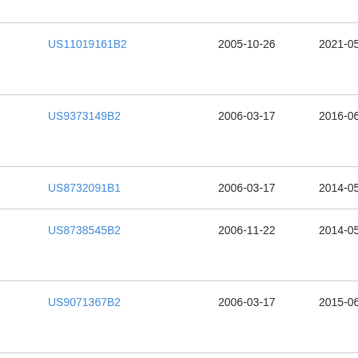| Patent | Filed | Published | Ho… |
| --- | --- | --- | --- |
| US11019161B2 | 2005-10-26 | 2021-05-25 | Con… |
| US9373149B2 | 2006-03-17 | 2016-06-21 | Fat… |
| US8732091B1 | 2006-03-17 | 2014-05-20 | Raj… |
| US8738545B2 | 2006-11-22 | 2014-05-27 | Raj… |
| US9071367B2 | 2006-03-17 | 2015-06-30 | Fat… |
| CN102084391A | 2008-03-05 | 2011-06-01 | □□□□ |